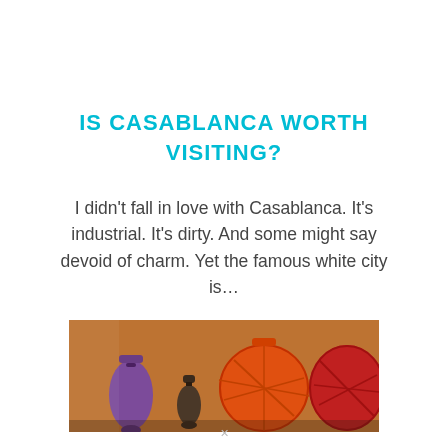IS CASABLANCA WORTH VISITING?
I didn't fall in love with Casablanca. It's industrial. It's dirty. And some might say devoid of charm. Yet the famous white city is…
[Figure (photo): Colorful Moroccan lanterns and decorative items on display, showing vibrant red, orange, and purple hues against a warm brown background.]